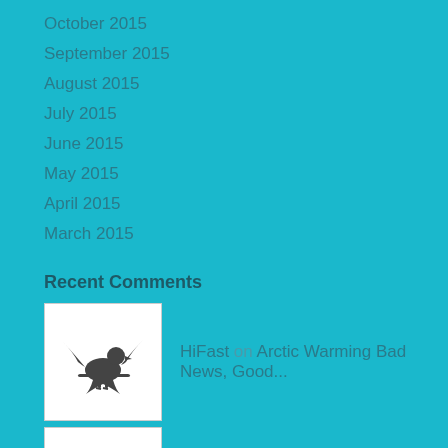October 2015
September 2015
August 2015
July 2015
June 2015
May 2015
April 2015
March 2015
Recent Comments
HiFast on Arctic Warming Bad News, Good...
HiFast on In Defense of Fertilizers, Far...